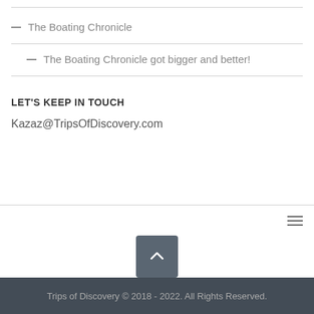— The Boating Chronicle
— The Boating Chronicle got bigger and better!
LET'S KEEP IN TOUCH
Kazaz@TripsOfDiscovery.com
Trips of Discovery © 2018 - 2022. All Rights Reserved.